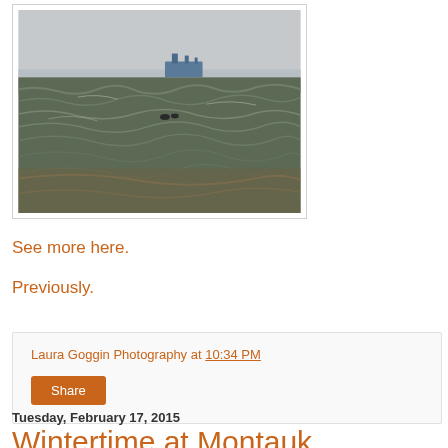[Figure (photo): Ocean/sea photograph showing choppy dark water with two birds on the surface and a large cargo ship visible on the horizon against an overcast grey sky]
See more here.
Previously.
Laura Goggin Photography at 10:34 PM
Share
Tuesday, February 17, 2015
Wintertime at Montauk